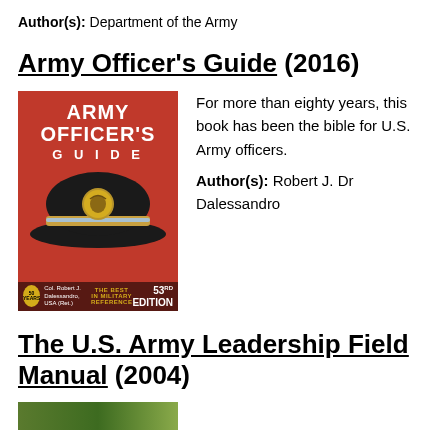Author(s): Department of the Army
Army Officer's Guide (2016)
[Figure (photo): Book cover of Army Officer's Guide, 53rd Edition, showing a military officer's hat on a red background with gold eagle emblem]
For more than eighty years, this book has been the bible for U.S. Army officers. Author(s): Robert J. Dr Dalessandro
The U.S. Army Leadership Field Manual (2004)
[Figure (photo): Partial view of a book cover with olive/green coloring at the bottom of the page]